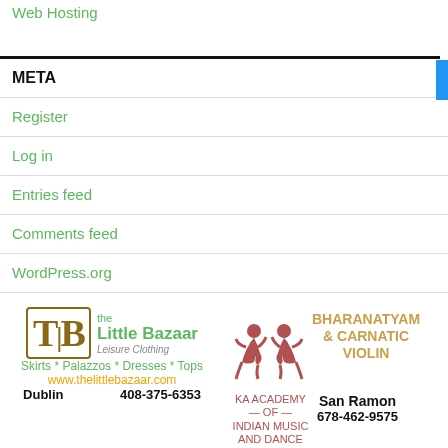Web Hosting
META
Register
Log in
Entries feed
Comments feed
WordPress.org
[Un]Subscribe to Posts
[Figure (logo): The Little Bazaar - Leisure Clothing logo with stylized TB icon]
Skirts * Palazzos * Dresses * Tops
www.thelittlebazaar.com
Dublin    408-375-6353
[Figure (logo): KA Academy of Indian Music and Dance logo with two dancers]
BHARANATYAM & CARNATIC VIOLIN
San Ramon
678-462-9575